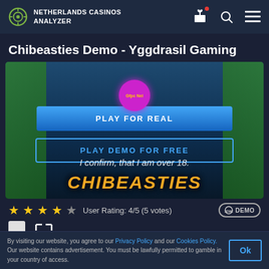NETHERLANDS CASINOS ANALYZER
Chibeasties Demo - Yggdrasil Gaming
[Figure (screenshot): Chibeasties slot game preview with Play For Real and Play Demo For Free buttons, pink circle overlay, and I confirm that I am over 18 text]
User Rating: 4/5 (5 votes)
Features
By visiting our website, you agree to our Privacy Policy and our Cookies Policy. Our website contains advertisement. You must be lawfully permitted to gamble in your country of access.